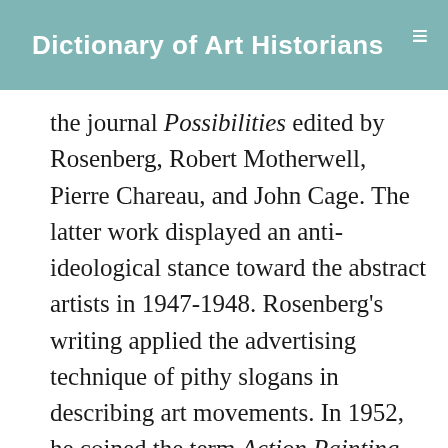Dictionary of Art Historians
the journal Possibilities edited by Rosenberg, Robert Motherwell, Pierre Chareau, and John Cage. The latter work displayed an anti-ideological stance toward the abstract artists in 1947-1948. Rosenberg's writing applied the advertising technique of pithy slogans in describing art movements. In 1952, he coined the term Action Painting for the Abstract Expressionist artists, introducing their art in a series of